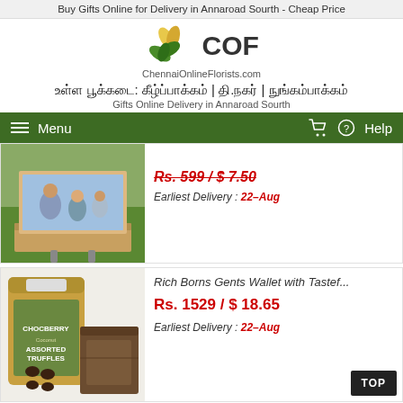Buy Gifts Online for Delivery in Annaroad Sourth - Cheap Price
[Figure (logo): COF ChennaiOnlineFlorists.com logo with flower icon]
உள்ள பூக்கடை: கீழ்ப்பாக்கம் | தி.நகர் | நுங்கம்பாக்கம்
Gifts Online Delivery in Annaroad Sourth
Menu  Help
[Figure (photo): Family sitting on a wooden photo print stand]
Rs. 599 / $ 7.50
Earliest Delivery : 22-Aug
[Figure (photo): Rich Borns Gents Wallet with Tastef... — chocolate truffles bag and wallet]
Rich Borns Gents Wallet with Tastef...
Rs. 1529 / $ 18.65
Earliest Delivery : 22-Aug